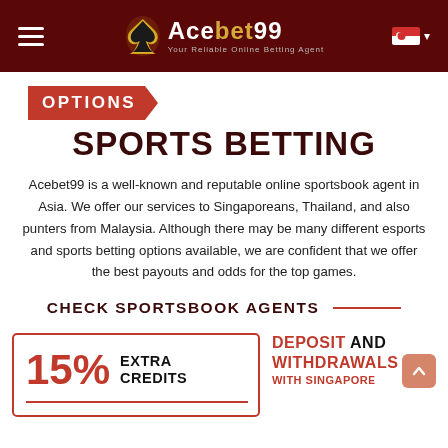Acebet99 – Your Reliable Online Betting Agent
OPTIONS
SPORTS BETTING
Acebet99 is a well-known and reputable online sportsbook agent in Asia. We offer our services to Singaporeans, Thailand, and also punters from Malaysia. Although there may be many different esports and sports betting options available, we are confident that we offer the best payouts and odds for the top games.
CHECK SPORTSBOOK AGENTS
15% EXTRA CREDITS
DEPOSIT AND WITHDRAWALS WITH SINGAPORE